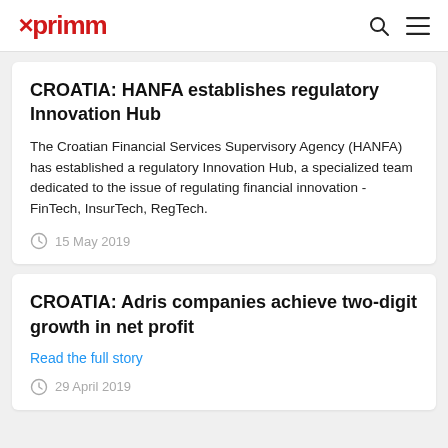xprimm
CROATIA: HANFA establishes regulatory Innovation Hub
The Croatian Financial Services Supervisory Agency (HANFA) has established a regulatory Innovation Hub, a specialized team dedicated to the issue of regulating financial innovation - FinTech, InsurTech, RegTech.
15 May 2019
CROATIA: Adris companies achieve two-digit growth in net profit
Read the full story
29 April 2019